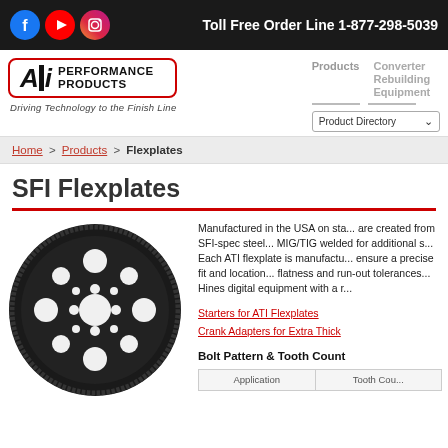Toll Free Order Line 1-877-298-5039
[Figure (logo): ATI Performance Products logo with red border and tagline 'Driving Technology to the Finish Line']
Products | Converter Rebuilding Equipment
Product Directory
Home > Products > Flexplates
SFI Flexplates
[Figure (photo): Black SFI flexplate / ring gear viewed from front, showing multiple circular bolt holes]
Manufactured in the USA on sta... are created from SFI-spec steel... MIG/TIG welded for additional s... Each ATI flexplate is manufactu... ensure a precise fit and location... flatness and run-out tolerances... Hines digital equipment with a r...
Starters for ATI Flexplates
Crank Adapters for Extra Thick
Bolt Pattern & Tooth Count
| Application | Tooth Cou... |
| --- | --- |